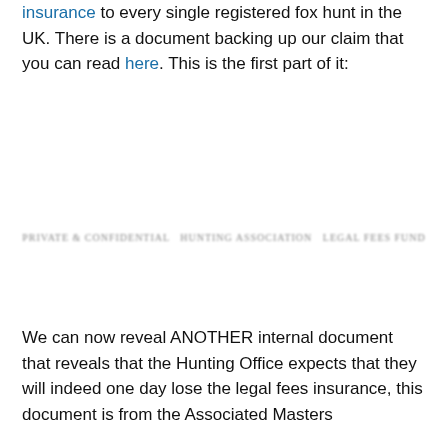insurance to every single registered fox hunt in the UK. There is a document backing up our claim that you can read here. This is the first part of it:
[Figure (screenshot): A blurred/redacted document header text, partially legible, appearing to be a title of an internal document.]
We can now reveal ANOTHER internal document that reveals that the Hunting Office expects that they will indeed one day lose the legal fees insurance, this document is from the Associated Masters